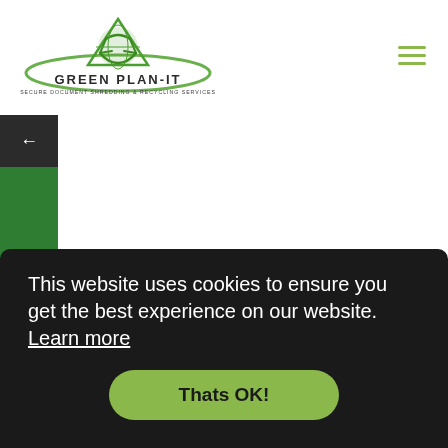[Figure (logo): Green Plan-IT logo with a green globe/recycle icon and swoosh, text reads GREEN PLAN-IT, SECURE DOCUMENT SHREDDING & RECYCLING SERVICES]
[Figure (other): Hamburger menu icon (three horizontal green lines) in top right corner]
[Figure (other): Left sidebar: dark arrow-back button at top, green panel with rotated 'Get A Quote' text and a checkbox/square icon at bottom]
This website uses cookies to ensure you get the best experience on our website.  Learn more
Thats OK!